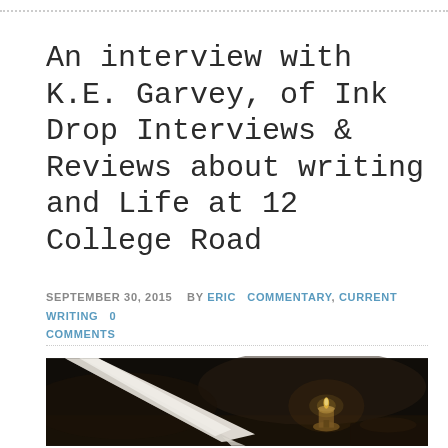An interview with K.E. Garvey, of Ink Drop Interviews & Reviews about writing and Life at 12 College Road
SEPTEMBER 30, 2015  BY ERIC  COMMENTARY, CURRENT WRITING  0 COMMENTS
[Figure (photo): Dark atmospheric photograph of a white feather quill pen resting diagonally, with a small lit oil lamp candle in the background on a dark wooden surface.]